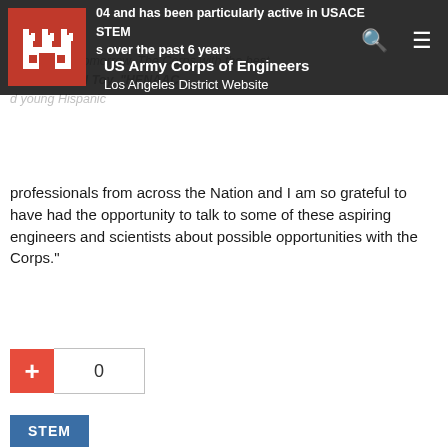US Army Corps of Engineers
Los Angeles District Website
professionals from across the Nation and I am so grateful to have had the opportunity to talk to some of these aspiring engineers and scientists about possible opportunities with the Corps."
[Figure (other): Plus button with counter showing 0]
STEM